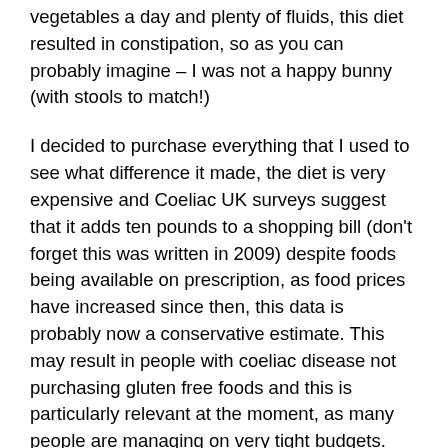vegetables a day and plenty of fluids, this diet resulted in constipation, so as you can probably imagine – I was not a happy bunny (with stools to match!)
I decided to purchase everything that I used to see what difference it made, the diet is very expensive and Coeliac UK surveys suggest that it adds ten pounds to a shopping bill (don't forget this was written in 2009) despite foods being available on prescription, as food prices have increased since then, this data is probably now a conservative estimate. This may result in people with coeliac disease not purchasing gluten free foods and this is particularly relevant at the moment, as many people are managing on very tight budgets. One issue that did vex was that many foods in the dietary allergy section of the supermarkets are expensive, often